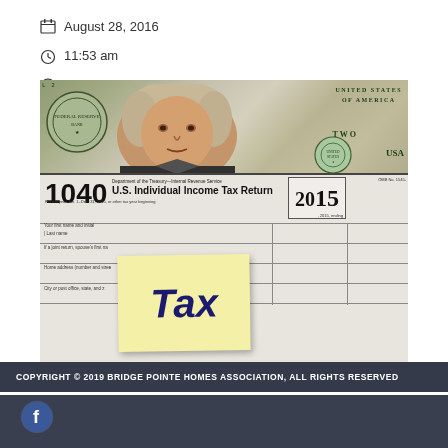August 28, 2016
11:53 am
Pat Rainey
[Figure (photo): Photo of a 1040 U.S. Individual Income Tax Return form for 2015, with dollar bills (featuring Andrew Jackson) visible above the form, and a yellow sticky note with the word 'Tax' written on it placed over the form fields.]
COPYRIGHT © 2019 BRIDGE POINTE HOMES ASSOCIATION, ALL RIGHTS RESERVED